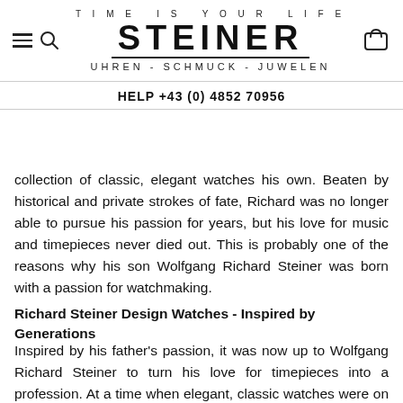TIME IS YOUR LIFE
STEINER
UHREN - SCHMUCK - JUWELEN
HELP +43 (0) 4852 70956
collection of classic, elegant watches his own. Beaten by historical and private strokes of fate, Richard was no longer able to pursue his passion for years, but his love for music and timepieces never died out. This is probably one of the reasons why his son Wolfgang Richard Steiner was born with a passion for watchmaking.
Richard Steiner Design Watches - Inspired by Generations
Inspired by his father's passion, it was now up to Wolfgang Richard Steiner to turn his love for timepieces into a profession. At a time when elegant, classic watches were on the verge of